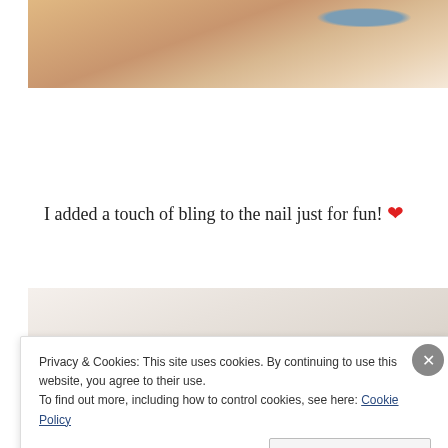[Figure (photo): Close-up photo of skin with a blue fingernail visible at the top right corner]
I added a touch of bling to the nail just for fun! ❤
[Figure (photo): Close-up photo of a surface, partially obscured by cookie consent banner]
Privacy & Cookies: This site uses cookies. By continuing to use this website, you agree to their use.
To find out more, including how to control cookies, see here: Cookie Policy
Close and accept